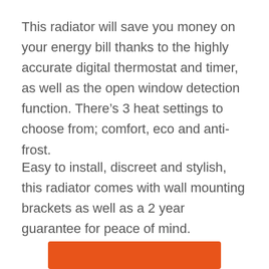This radiator will save you money on your energy bill thanks to the highly accurate digital thermostat and timer, as well as the open window detection function. There’s 3 heat settings to choose from; comfort, eco and anti-frost.
Easy to install, discreet and stylish, this radiator comes with wall mounting brackets as well as a 2 year guarantee for peace of mind.
[Figure (other): Orange/red rectangular button at the bottom of the page (partially visible)]